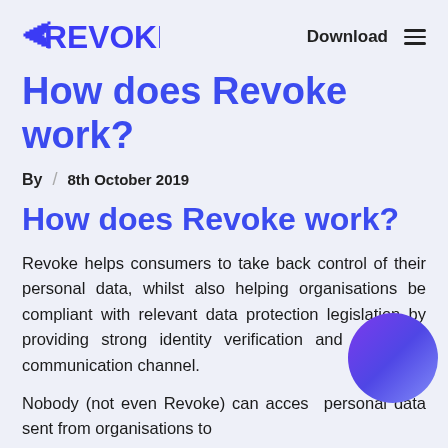REVOKE | Download ≡
How does Revoke work?
By / 8th October 2019
How does Revoke work?
Revoke helps consumers to take back control of their personal data, whilst also helping organisations be compliant with relevant data protection legislation by providing strong identity verification and a secure communication channel.
Nobody (not even Revoke) can access personal data sent from organisations to